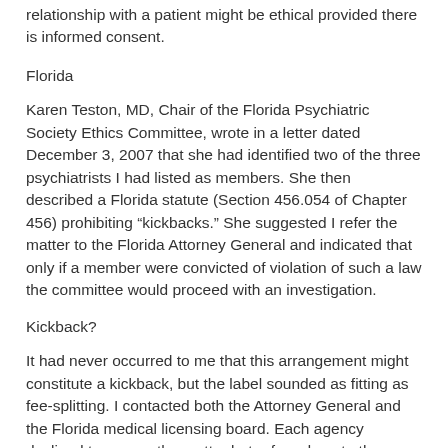relationship with a patient might be ethical provided there is informed consent.
Florida
Karen Teston, MD, Chair of the Florida Psychiatric Society Ethics Committee, wrote in a letter dated December 3, 2007 that she had identified two of the three psychiatrists I had listed as members. She then described a Florida statute (Section 456.054 of Chapter 456) prohibiting “kickbacks.” She suggested I refer the matter to the Florida Attorney General and indicated that only if a member were convicted of violation of such a law the committee would proceed with an investigation.
Kickback?
It had never occurred to me that this arrangement might constitute a kickback, but the label sounded as fitting as fee-splitting. I contacted both the Attorney General and the Florida medical licensing board. Each agency declined to pursue the matter but referred me to the other. I hoped that